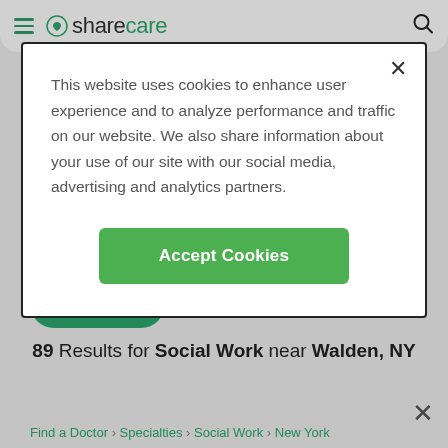sharecare
This website uses cookies to enhance user experience and to analyze performance and traffic on our website. We also share information about your use of our site with our social media, advertising and analytics partners.
Accept Cookies
Search
89 Results for Social Work near Walden, NY
SORT/FILTER
Find a Doctor > Specialties > Social Work > New York